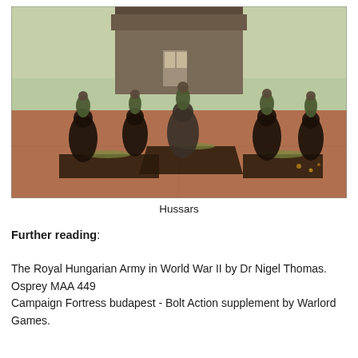[Figure (photo): Photograph of painted miniature Hussar cavalry figures on horseback, mounted on wargaming bases with terrain, in front of a rustic wooden building backdrop with green scenery.]
Hussars
Further reading:
The Royal Hungarian Army in World War II by Dr Nigel Thomas. Osprey MAA 449
Campaign Fortress budapest - Bolt Action supplement by Warlord Games.